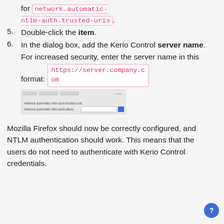for network.automatic-ntlm-auth.trusted-uris.
5. Double-click the item.
6. In the dialog box, add the Kerio Control server name. For increased security, enter the server name in this format: https://server.company.com
[Figure (screenshot): A dialog box screenshot showing input fields with a blue button, resembling a Firefox about:config or settings dialog.]
Mozilla Firefox should now be correctly configured, and NTLM authentication should work. This means that the users do not need to authenticate with Kerio Control credentials.